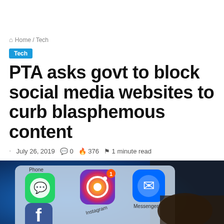Home / Tech
Tech
PTA asks govt to block social media websites to curb blasphemous content
July 26, 2019  0  376  1 minute read
[Figure (photo): Close-up photo of a smartphone screen showing social media app icons including Facebook, Instagram, and Messenger, with a finger touching the screen]
f  y  (WhatsApp icon)  (Telegram icon)